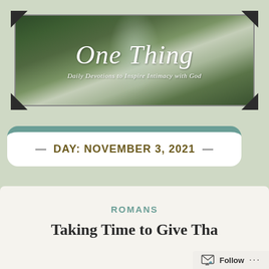[Figure (illustration): Banner header image with waterfall and forest background. Cursive script reads 'One Thing' with subtitle 'Daily Devotions to Inspire Intimacy with God'. Dark corner decorations on a bordered frame.]
DAY: NOVEMBER 3, 2021
ROMANS
Taking Time to Give Thanks